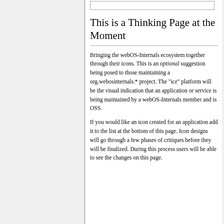This is a Thinking Page at the Moment
Bringing the webOS-Internals ecosystem together through their icons. This is an optional suggestion being posed to those maintaining a org.webosinternals.* project. The "ice" platform will be the visual indication that an application or service is being maintained by a webOS-Internals member and is OSS.
If you would like an icon created for an application add it to the list at the bottom of this page. Icon designs will go through a few phases of critiques before they will be finalized. During this process users will be able to see the changes on this page.